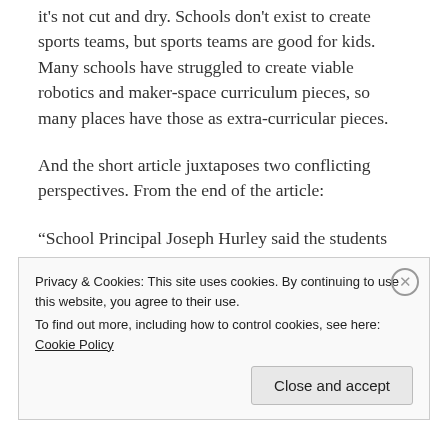it's not cut and dry. Schools don't exist to create sports teams, but sports teams are good for kids. Many schools have struggled to create viable robotics and maker-space curriculum pieces, so many places have those as extra-curricular pieces.
And the short article juxtaposes two conflicting perspectives. From the end of the article:
“School Principal Joseph Hurley said the students were asked to stay on the sidewalk — not school property — and to not disrupt the flow of traffic as students arrived
Privacy & Cookies: This site uses cookies. By continuing to use this website, you agree to their use.
To find out more, including how to control cookies, see here: Cookie Policy